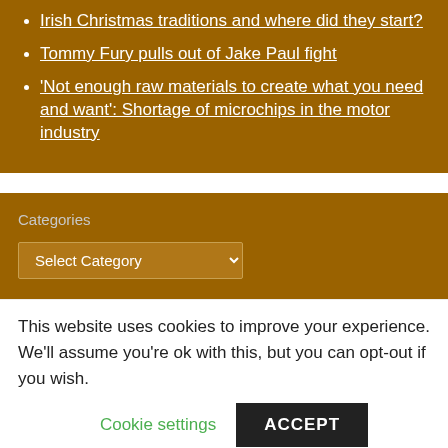Irish Christmas traditions and where did they start?
Tommy Fury pulls out of Jake Paul fight
'Not enough raw materials to create what you need and want': Shortage of microchips in the motor industry
Categories
Select Category
This website uses cookies to improve your experience. We'll assume you're ok with this, but you can opt-out if you wish.
Cookie settings
ACCEPT